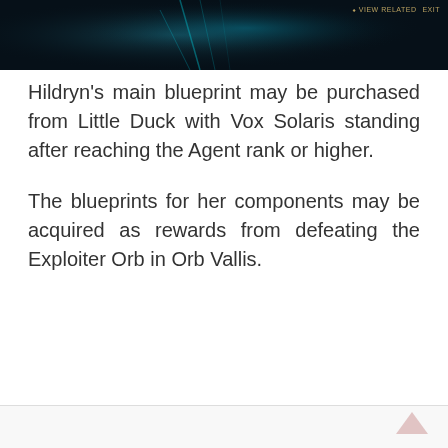[Figure (screenshot): Dark game screenshot showing a character with teal/green energy effects against a dark background. UI elements visible: 'VIEW RELATED' and 'EXIT' buttons in gold text at top right.]
Hildryn's main blueprint may be purchased from Little Duck with Vox Solaris standing after reaching the Agent rank or higher.
The blueprints for her components may be acquired as rewards from defeating the Exploiter Orb in Orb Vallis.